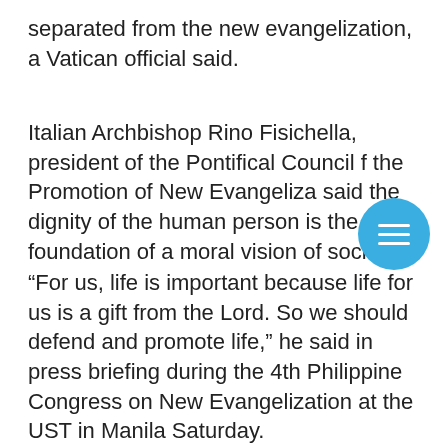separated from the new evangelization, a Vatican official said.
Italian Archbishop Rino Fisichella, president of the Pontifical Council for the Promotion of New Evangelization, said the dignity of the human person is the foundation of a moral vision of society.
“For us, life is important because life for us is a gift from the Lord. So we should defend and promote life,” he said in press briefing during the 4th Philippine Congress on New Evangelization at the UST in Manila Saturday.
[Figure (other): Blue circular menu/hamburger button icon with three white horizontal lines]